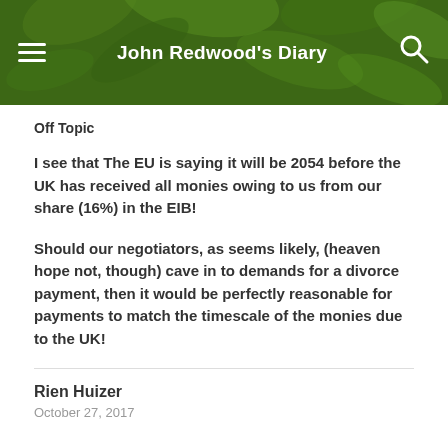John Redwood's Diary
Off Topic
I see that The EU is saying it will be 2054 before the UK has received all monies owing to us from our share (16%) in the EIB!
Should our negotiators, as seems likely, (heaven hope not, though) cave in to demands for a divorce payment, then it would be perfectly reasonable for payments to match the timescale of the monies due to the UK!
Rien Huizer
October 27, 2017